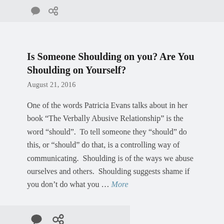[Figure (other): Comment and link icons in a light grey bar at the top of the page]
Is Someone Shoulding on you? Are You Shoulding on Yourself?
August 21, 2016
One of the words Patricia Evans talks about in her book “The Verbally Abusive Relationship” is the word “should”.  To tell someone they “should” do this, or “should” do that, is a controlling way of communicating.  Shoulding is of the ways we abuse ourselves and others.  Shoulding suggests shame if you don’t do what you … More
[Figure (other): Comment and link icons in a light grey bar at the bottom of the article]